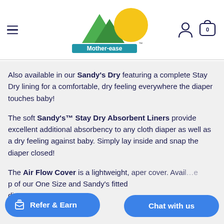Mother-ease navigation header with logo, hamburger menu, user icon, and cart icon
Also available in our Sandy's Dry featuring a complete Stay Dry lining for a comfortable, dry feeling everywhere the diaper touches baby!
The soft Sandy's™ Stay Dry Absorbent Liners provide excellent additional absorbency to any cloth diaper as well as a dry feeling against baby. Simply lay inside and snap the diaper closed!
The Air Flow Cover is a lightweight, [diaper cover. Avai... top of our One Size and Sandy's fitted diapers.